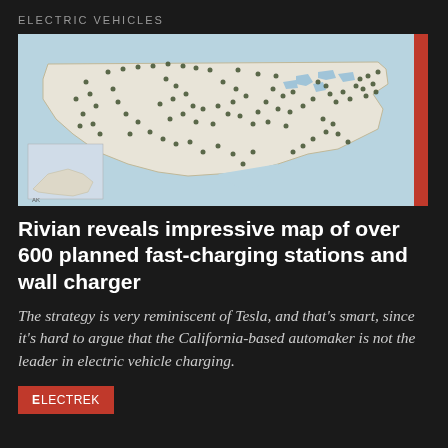ELECTRIC VEHICLES
[Figure (map): Map of the United States showing over 600 planned Rivian fast-charging stations as dots scattered across the country, with an inset map of Alaska in the lower left. The map has a light blue/beige background with state outlines visible.]
Rivian reveals impressive map of over 600 planned fast-charging stations and wall charger
The strategy is very reminiscent of Tesla, and that's smart, since it's hard to argue that the California-based automaker is not the leader in electric vehicle charging.
ELECTREK